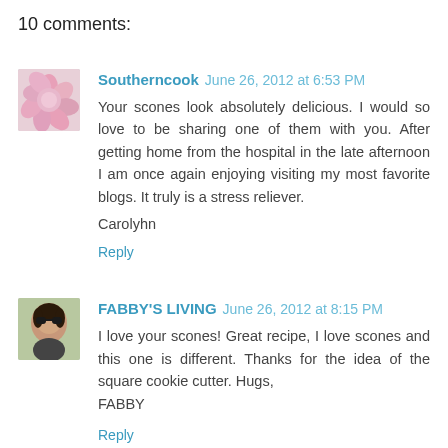10 comments:
Southerncook  June 26, 2012 at 6:53 PM
Your scones look absolutely delicious. I would so love to be sharing one of them with you. After getting home from the hospital in the late afternoon I am once again enjoying visiting my most favorite blogs. It truly is a stress reliever.

Carolyhn

Reply
FABBY'S LIVING  June 26, 2012 at 8:15 PM
I love your scones! Great recipe, I love scones and this one is different. Thanks for the idea of the square cookie cutter. Hugs,
FABBY

Reply